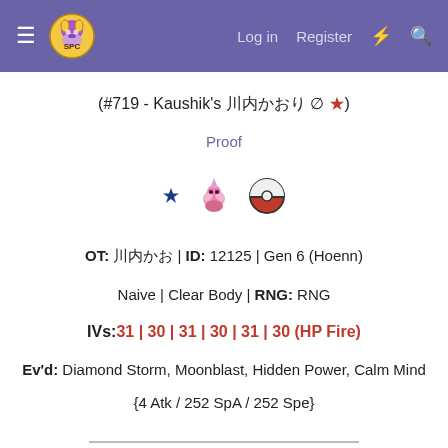Log in  Register
(#719 - Kaushik's ??????  ∅ ★)
Proof
[Figure (illustration): Blue diamond shiny symbol, pink Diancie sprite, red Pokeball item sprite]
OT: ???? | ID: 12125 | Gen 6 (Hoenn)
Naive | Clear Body | RNG: RNG
IVs:31 | 30 | 31 | 30 | 31 | 30 (HP Fire)
Ev'd: Diamond Storm, Moonblast, Hidden Power, Calm Mind
{4 Atk / 252 SpA / 252 Spe}